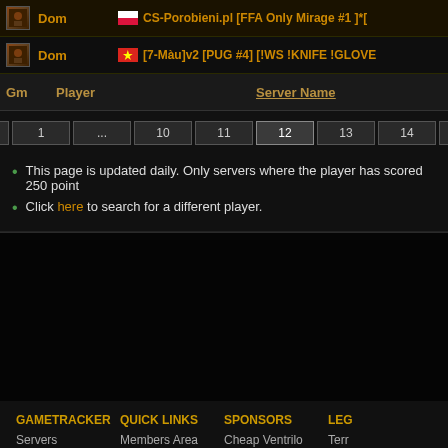| Gm | Player | Server Name |
| --- | --- | --- |
| [icon] | Dom | CS-Porobieni.pl [FFA Only Mirage #1 ]*[... |
| [icon] | Dom | [7-Màu]v2 [PUG #4] [!WS !KNIFE !GLOVE... |
This page is updated daily. Only servers where the player has scored 250 point
Click here to search for a different player.
GAMETRACKER | QUICK LINKS | SPONSORS | LEGAL
Servers | Members Area | Cheap Ventrilo Hosting | Term
Teams | Search | Rent Game Servers | Use
Profiles | Report a Bug | | Coo
Games | Forums | |
© Copyright GameTracker.com - Game Server Stats, Online Server List, Mu